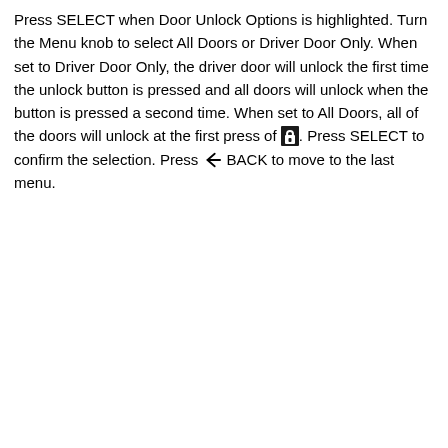Press SELECT when Door Unlock Options is highlighted. Turn the Menu knob to select All Doors or Driver Door Only. When set to Driver Door Only, the driver door will unlock the first time the unlock button is pressed and all doors will unlock when the button is pressed a second time. When set to All Doors, all of the doors will unlock at the first press of [lock icon]. Press SELECT to confirm the selection. Press [back icon] BACK to move to the last menu.